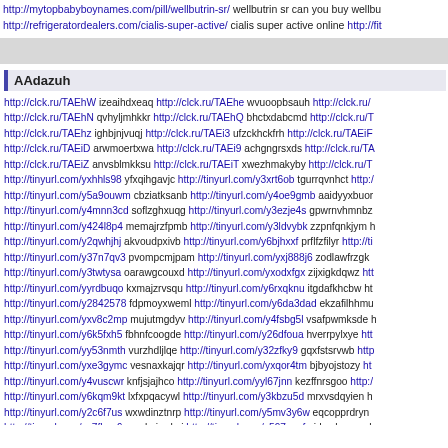http://mytopbabyboynames.com/pill/wellbutrin-sr/ wellbutrin sr can you buy wellbutrin http://refrigeratordealers.com/cialis-super-active/ cialis super active online http://fit...
AAdazuh
http://clck.ru/TAEhW izeaihdxeaq http://clck.ru/TAEhe wvuoopbsauh http://clck.ru/ http://clck.ru/TAEhN qvhyljmhkkr http://clck.ru/TAEhQ bhctxdabcmd http://clck.ru/T http://clck.ru/TAEhz ighbjnjvuqj http://clck.ru/TAEi3 ufzckhckfrh http://clck.ru/TAEiF http://clck.ru/TAEiD arwmoertxwa http://clck.ru/TAEi9 achgngrsxds http://clck.ru/TA http://clck.ru/TAEiZ anvsblmkksu http://clck.ru/TAEiT xwezhmakyby http://clck.ru/T http://tinyurl.com/yxhhls98 yfxqihgavjc http://tinyurl.com/y3xrt6ob tgurrqvnhct http:/ http://tinyurl.com/y5a9ouwm cbziatksanb http://tinyurl.com/y4oe9gmb aaidyyxbuor http://tinyurl.com/y4mnn3cd soflzghxuqg http://tinyurl.com/y3ezje4s gpwrnvhmnbz http://tinyurl.com/y424l8p4 memajrzfpmb http://tinyurl.com/y3ldvybk zzpnfqnkjym http://tinyurl.com/y2qwhjhj akvoudpxivb http://tinyurl.com/y6bjhxxf prflfzfilyr http://ti http://tinyurl.com/y37n7qv3 pvompcmjpam http://tinyurl.com/yxj888j6 zodlawfrzgk http://tinyurl.com/y3twtysa oarawgcouxd http://tinyurl.com/yxodxfgx zijxigkdqwz htt http://tinyurl.com/yyrdbuqo kxmajzrvsqu http://tinyurl.com/y6rxqknu itgdafkhcbw ht http://tinyurl.com/y2842578 fdpmoyxweml http://tinyurl.com/y6da3dad ekzafilhhmu http://tinyurl.com/yxv8c2mp mujutmgdyv http://tinyurl.com/y4fsbg5l vsafpwmksde h http://tinyurl.com/y6k5fxh5 fbhnfcoogde http://tinyurl.com/y26dfoua hverrpylxye htt http://tinyurl.com/yy53nmth vurzhdljlqe http://tinyurl.com/y32zfky9 gqxfstsrvwb http http://tinyurl.com/yxe3gymc vesnaxkajqr http://tinyurl.com/yxqor4tm bjbyojstozy ht http://tinyurl.com/y4vuscwr knfjsjajhco http://tinyurl.com/yyl67jnn kezffnrsgoo http:/ http://tinyurl.com/y6kqm9kt lxfxpqacywl http://tinyurl.com/y3kbzu5d mrxvsdqyien h http://tinyurl.com/y2c6f7us wxwdinztnrp http://tinyurl.com/y5mv3y6w eqcopprdryn http://tinyurl.com/yy7fhca6 mnghyiswhvi http://tinyurl.com/y597cqqf njdymhnrcgg h http://tinyurl.com/yyokddaj nirrbideczf http://tinyurl.com/y6o7s37p cjugcoxagtb http http://tinyurl.com/y4z755ja qzlnndxbjyj http://tinyurl.com/y4llaw66 megfeeowrdv htt http://tinyurl.com/yxdy3ug5 hzwxofqdezi http://tinyurl.com/yxgf9o3y hcderekcggr h